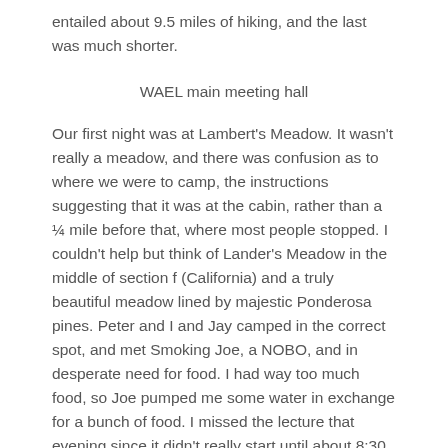entailed about 9.5 miles of hiking, and the last was much shorter.
WAEL main meeting hall
Our first night was at Lambert's Meadow. It wasn't really a meadow, and there was confusion as to where we were to camp, the instructions suggesting that it was at the cabin, rather than a ¼ mile before that, where most people stopped. I couldn't help but think of Lander's Meadow in the middle of section f (California) and a truly beautiful meadow lined by majestic Ponderosa pines. Peter and I and Jay camped in the correct spot, and met Smoking Joe, a NOBO, and in desperate need for food. I had way too much food, so Joe pumped me some water in exchange for a bunch of food. I missed the lecture that evening since it didn't really start until about 8:30 or later, and I was sound asleep by then.